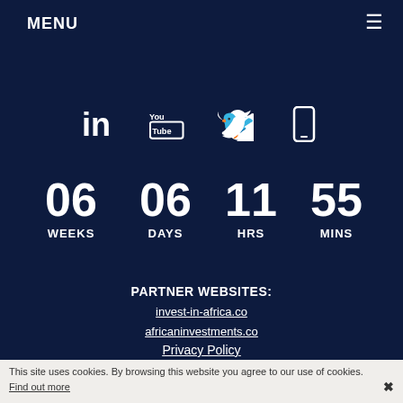MENU
[Figure (other): Social media icons row: LinkedIn, YouTube, Twitter, mobile/phone icon]
06 WEEKS  06 DAYS  11 HRS  55 MINS
PARTNER WEBSITES:
invest-in-africa.co
africaninvestments.co
Privacy Policy
Disclaimer
This site uses cookies. By browsing this website you agree to our use of cookies. Find out more